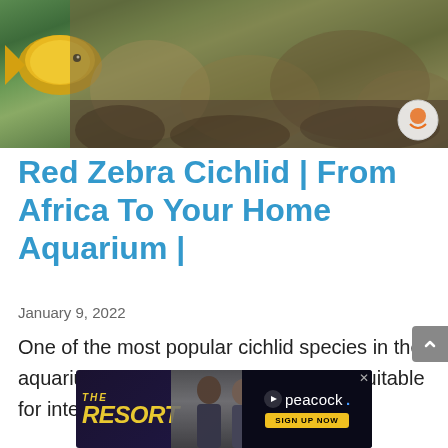[Figure (photo): Hero image of an aquarium with a yellow fish and coral/rock formations in greenish-brown water]
Red Zebra Cichlid | From Africa To Your Home Aquarium |
January 9, 2022
One of the most popular cichlid species in the aquarium hobby, Red zebra cichlid, is suitable for intermediate and
[Figure (photo): Advertisement banner for The Resort on Peacock streaming service showing two people and sign up now button]